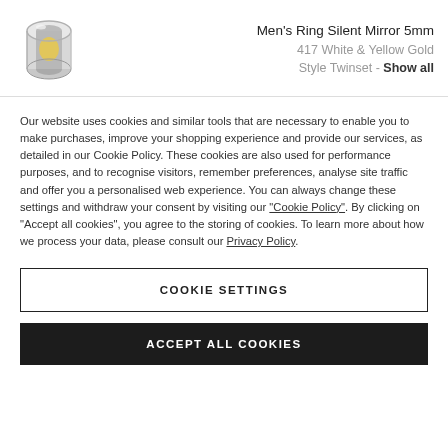[Figure (photo): Men's ring product image - silver and gold wedding band]
Men's Ring Silent Mirror 5mm
417 White & Yellow Gold
Style Twinset - Show all
Our website uses cookies and similar tools that are necessary to enable you to make purchases, improve your shopping experience and provide our services, as detailed in our Cookie Policy. These cookies are also used for performance purposes, and to recognise visitors, remember preferences, analyse site traffic and offer you a personalised web experience. You can always change these settings and withdraw your consent by visiting our “Cookie Policy”. By clicking on “Accept all cookies”, you agree to the storing of cookies. To learn more about how we process your data, please consult our Privacy Policy.
COOKIE SETTINGS
ACCEPT ALL COOKIES